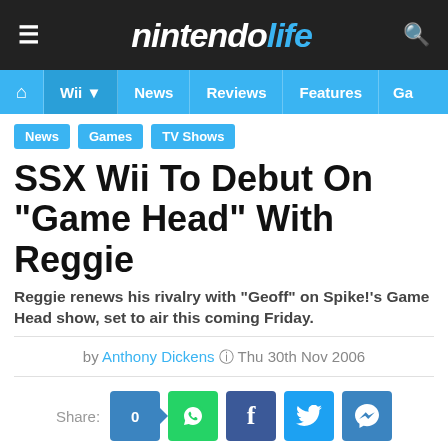nintendo life
Wii | News | Reviews | Features | Ga
News
Games
TV Shows
SSX Wii To Debut On "Game Head" With Reggie
Reggie renews his rivalry with "Geoff" on Spike!'s Game Head show, set to air this coming Friday.
by Anthony Dickens  Thu 30th Nov 2006
Share: 0
▼ ARTICLE CONTINUES BELOW ▼